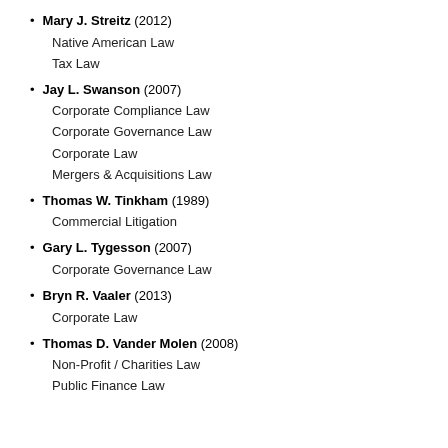Mary J. Streitz (2012) — Native American Law, Tax Law
Jay L. Swanson (2007) — Corporate Compliance Law, Corporate Governance Law, Corporate Law, Mergers & Acquisitions Law
Thomas W. Tinkham (1989) — Commercial Litigation
Gary L. Tygesson (2007) — Corporate Governance Law
Bryn R. Vaaler (2013) — Corporate Law
Thomas D. Vander Molen (2008) — Non-Profit / Charities Law, Public Finance Law